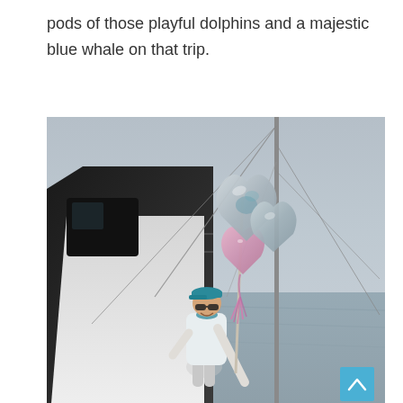pods of those playful dolphins and a majestic blue whale on that trip.
[Figure (photo): A woman wearing a light blue shirt, teal cap, and sunglasses stands on the deck of a sailboat on a foggy, calm body of water. She holds a pole with several metallic heart-shaped and star-shaped balloons in silver and pink. A vertical mast is visible behind her. The scene is misty and overcast.]